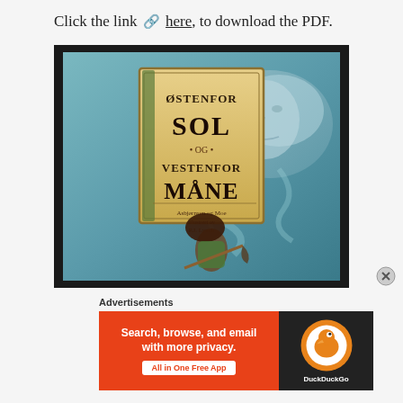Click the link 🔗 here, to download the PDF.
[Figure (photo): Book cover of 'Østenfor Sol og Vestenfor Måne' (East of the Sun and West of the Moon), illustrated by P.J. Lynch. The cover shows a woman carrying a bundle of twigs/branches against a mystical blue background with a large face formed from clouds or mist. There is a decorative title panel in the center with the book title and author credits: Asbjørnsen og Moe, Illustrert av P.J. Lynch.]
Advertisements
[Figure (screenshot): DuckDuckGo advertisement banner. Left side has orange/red background with white text: 'Search, browse, and email with more privacy.' and a white button 'All in One Free App'. Right side has dark background with DuckDuckGo circular logo (orange duck icon).]